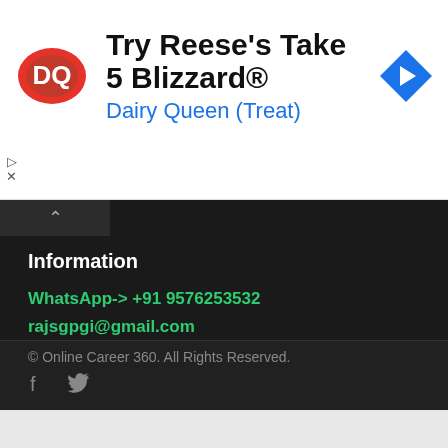[Figure (screenshot): Dairy Queen advertisement banner with DQ logo, text 'Try Reese's Take 5 Blizzard®', subtitle 'Dairy Queen (Treat)', and a blue navigation arrow icon. Small play and close controls on the left side.]
Information
WhatsApp-> +91 9576253532
rajsgpgi@gmail.com
https://t.me/onlinecareer360
www.facebook.com/onlinecareer360
© Online Career 360. All Rights Reserved.